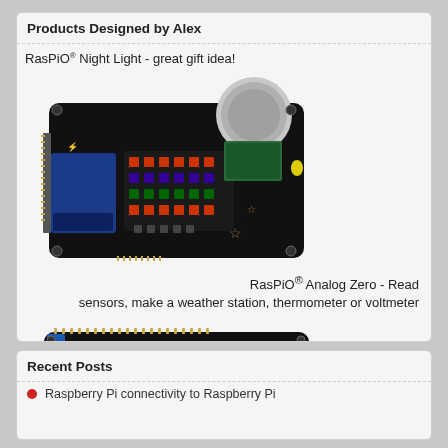Products Designed by Alex
RasPiO® Night Light - great gift idea!
[Figure (photo): RasPiO Night Light circuit board - a black PCB with RGB LEDs, a PIR motion sensor, and various electronic components including a blue microcontroller module]
RasPiO® Analog Zero - Read sensors, make a weather station, thermometer or voltmeter
[Figure (photo): RasPiO Analog Zero circuit board - a black PCB with a DIP chip, blue trimmer potentiometer, ribbon cable connector, and gold-plated through-holes on a prototype area]
Recent Posts
Raspberry Pi connectivity to Raspberry Pi